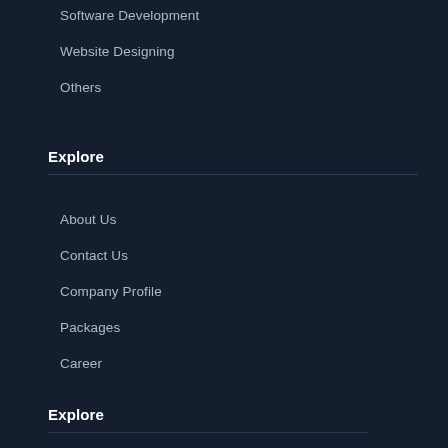Software Development
Website Designing
Others
Explore
About Us
Contact Us
Company Profile
Packages
Career
Explore